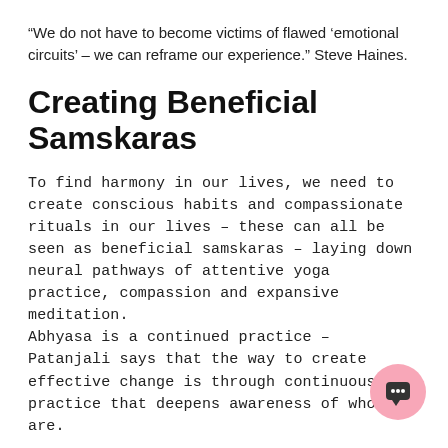“We do not have to become victims of flawed ‘emotional circuits’ – we can reframe our experience.” Steve Haines.
Creating Beneficial Samskaras
To find harmony in our lives, we need to create conscious habits and compassionate rituals in our lives – these can all be seen as beneficial samskaras – laying down neural pathways of attentive yoga practice, compassion and expansive meditation.
Abhyasa is a continued practice – Patanjali says that the way to create effective change is through continuous practice that deepens awareness of who we are.
[Figure (illustration): Pink circular chat bubble icon in the bottom right corner]